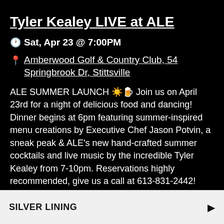Tyler Kealey LIVE at ALE
Sat, Apr 23 @ 7:00PM
Amberwood Golf & Country Club, 54 Springbrook Dr, Stittsville
ALE SUMMER LAUNCH ☀️🍺 Join us on April 23rd for a night of delicious food and dancing! Dinner begins at 6pm featuring summer-inspired menu creations by Executive Chef Jason Potvin, a sneak peak & ALE's new hand-crafted summer cocktails and live music by the incredible Tyler Kealey from 7-10pm. Reservations highly recommended, give us a call at 613-831-2442!
SILVER LINING